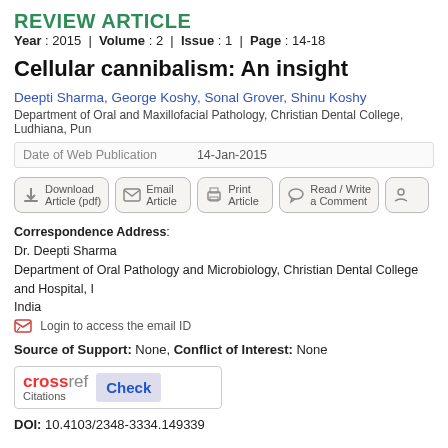REVIEW ARTICLE
Year : 2015 | Volume : 2 | Issue : 1 | Page : 14-18
Cellular cannibalism: An insight
Deepti Sharma, George Koshy, Sonal Grover, Shinu Koshy
Department of Oral and Maxillofacial Pathology, Christian Dental College, Ludhiana, Pun
Date of Web Publication   14-Jan-2015
[Figure (screenshot): Action buttons row: Download Article (pdf), Email Article, Print Article, Read / Write a Comment, and a partially visible button]
Correspondence Address:
Dr. Deepti Sharma
Department of Oral Pathology and Microbiology, Christian Dental College and Hospital, India
Login to access the email ID
Source of Support: None, Conflict of Interest: None
[Figure (logo): CrossRef Citations Check logo with Check button]
DOI: 10.4103/2348-3334.149339